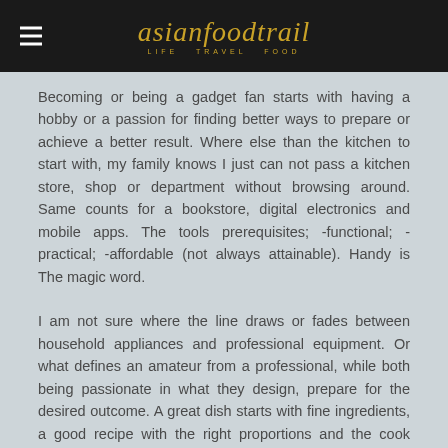asianfoodtrail LIFE TRAVEL FOOD
Becoming or being a gadget fan starts with having a hobby or a passion for finding better ways to prepare or achieve a better result. Where else than the kitchen to start with, my family knows I just can not pass a kitchen store, shop or department without browsing around. Same counts for a bookstore, digital electronics and mobile apps. The tools prerequisites; -functional; -practical; -affordable (not always attainable). Handy is The magic word.
I am not sure where the line draws or fades between household appliances and professional equipment. Or what defines an amateur from a professional, while both being passionate in what they design, prepare for the desired outcome. A great dish starts with fine ingredients, a good recipe with the right proportions and the cook bringing it all together.